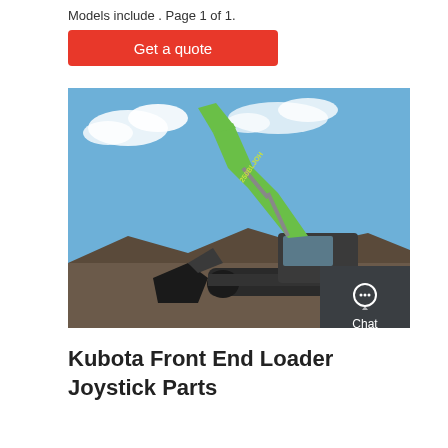Models include . Page 1 of 1.
Get a quote
[Figure (photo): Large green excavator/crawler machine with boom arm raised, working in rocky terrain against a blue sky background. Brand marking visible on arm.]
Kubota Front End Loader Joystick Parts